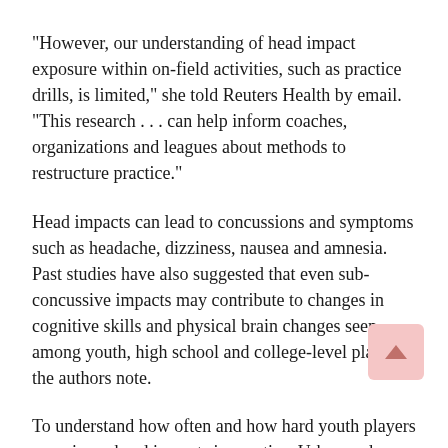“However, our understanding of head impact exposure within on-field activities, such as practice drills, is limited,” she told Reuters Health by email. “This research . . . can help inform coaches, organizations and leagues about methods to restructure practice.”
Head impacts can lead to concussions and symptoms such as headache, dizziness, nausea and amnesia. Past studies have also suggested that even sub-concussive impacts may contribute to changes in cognitive skills and physical brain changes seen among youth, high school and college-level players, the authors note.
To understand how often and how hard youth players experience head impacts in practice, Urban and colleagues recruited a team belonging to the American Youth Football league to participate in the study.
Players wore sensors on their helmets to measure impacts